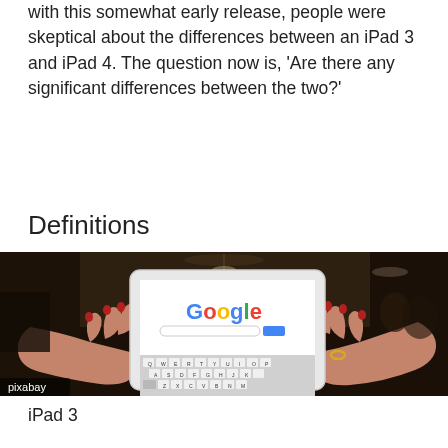with this somewhat early release, people were skeptical about the differences between an iPad 3 and iPad 4. The question now is, 'Are there any significant differences between the two?'
Definitions
[Figure (photo): Person holding a white iPad/tablet displaying the Google search homepage, showing the on-screen keyboard. The person has red painted nails and wears a ring. Background shows a restaurant/bar interior. Pixabay watermark in bottom left.]
iPad 3